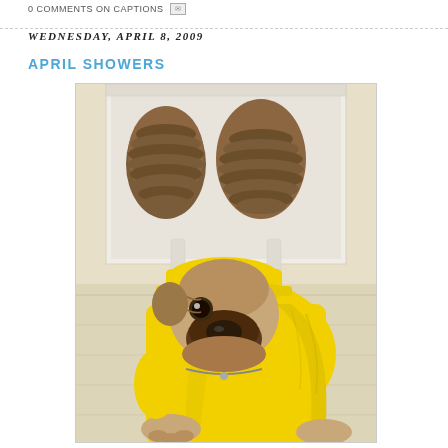0 COMMENTS ON CAPTIONS
WEDNESDAY, APRIL 8, 2009
APRIL SHOWERS
[Figure (photo): A pug dog wearing a yellow raincoat and yellow cap, sitting on a light wood floor in front of a white storage box filled with pine cones. The dog looks directly at the camera with a sad, droopy expression.]